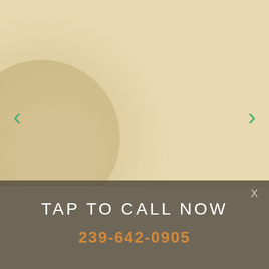[Figure (photo): Light beige/tan background with a large circular blob shape in the lower-left area, giving an abstract decorative look. Green chevron arrow on the left side and green chevron arrow on the right side for navigation.]
X
TAP TO CALL NOW
239-642-0905